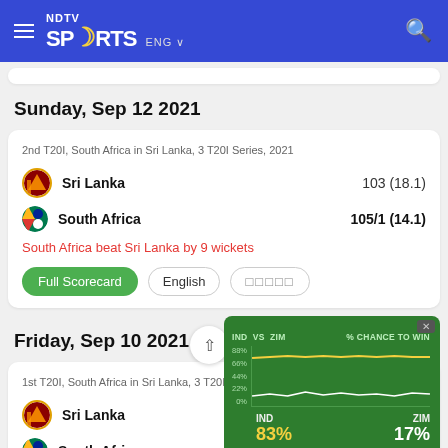NDTV SPORTS ENG
Sunday, Sep 12 2021
2nd T20I, South Africa in Sri Lanka, 3 T20I Series, 2021
Sri Lanka  103 (18.1)
South Africa  105/1 (14.1)
South Africa beat Sri Lanka by 9 wickets
Full Scorecard  English  □□□□□
Friday, Sep 10 2021
[Figure (infographic): Win probability widget showing IND vs ZIM. Line chart with y-axis labels 88%, 66%, 44%, 22%, 0%. IND shown in yellow line at top, ZIM in white line at bottom. IND: 83%, ZIM: 17%]
1st T20I, South Africa in Sri Lanka, 3 T20I Series, 2021
Sri Lanka  135/6 (20.0)
South Africa  (partial)